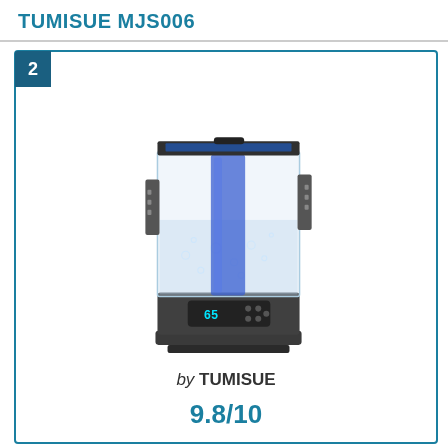TUMISUE MJS006
[Figure (photo): Photo of TUMISUE MJS006 humidifier with transparent water tank showing bubbles, blue internal column, black base with digital display panel showing '65' and control buttons]
by TUMISUE
9.8/10